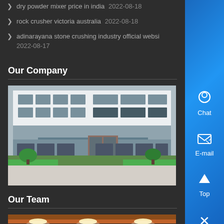dry powder mixer price in india  2022-08-18
rock crusher victoria australia  2022-08-18
adinarayana stone crushing industry official websi  2022-08-17
Our Company
[Figure (photo): Exterior photo of a company building with multiple floors, large windows, a covered entrance/canopy, and landscaping with trees and greenery in front.]
Our Team
[Figure (photo): Interior photo of a large industrial workshop or factory space with overhead lighting and orange structural beams.]